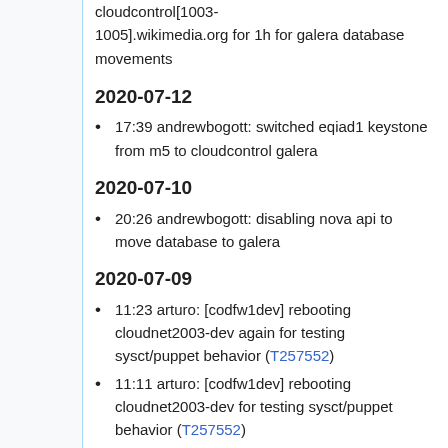cloudcontrol[1003-1005].wikimedia.org for 1h for galera database movements
2020-07-12
17:39 andrewbogott: switched eqiad1 keystone from m5 to cloudcontrol galera
2020-07-10
20:26 andrewbogott: disabling nova api to move database to galera
2020-07-09
11:23 arturo: [codfw1dev] rebooting cloudnet2003-dev again for testing sysct/puppet behavior (T257552)
11:11 arturo: [codfw1dev] rebooting cloudnet2003-dev for testing sysct/puppet behavior (T257552)